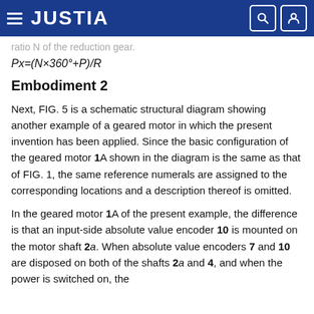JUSTIA
ratio N of the reduction gear.
Embodiment 2
Next, FIG. 5 is a schematic structural diagram showing another example of a geared motor in which the present invention has been applied. Since the basic configuration of the geared motor 1A shown in the diagram is the same as that of FIG. 1, the same reference numerals are assigned to the corresponding locations and a description thereof is omitted.
In the geared motor 1A of the present example, the difference is that an input-side absolute value encoder 10 is mounted on the motor shaft 2a. When absolute value encoders 7 and 10 are disposed on both of the shafts 2a and 4, and when the power is switched on, the